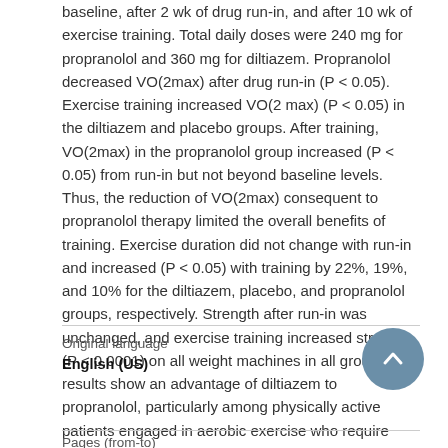baseline, after 2 wk of drug run-in, and after 10 wk of exercise training. Total daily doses were 240 mg for propranolol and 360 mg for diltiazem. Propranolol decreased VO(2max) after drug run-in (P < 0.05). Exercise training increased VO(2 max) (P < 0.05) in the diltiazem and placebo groups. After training, VO(2max) in the propranolol group increased (P < 0.05) from run-in but not beyond baseline levels. Thus, the reduction of VO(2max) consequent to propranolol therapy limited the overall benefits of training. Exercise duration did not change with run-in and increased (P < 0.05) with training by 22%, 19%, and 10% for the diltiazem, placebo, and propranolol groups, respectively. Strength after run-in was unchanged, and exercise training increased strength (P < 0.0001) on all weight machines in all groups. The results show an advantage of diltiazem to propranolol, particularly among physically active patients engaged in aerobic exercise who require antihypertensive therapy.
Original language
English (US)
Pages (from-to)